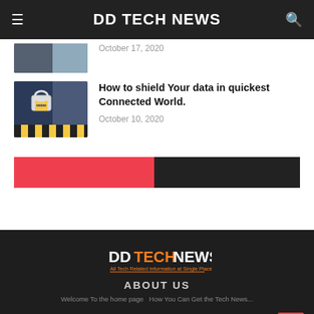DD TECH NEWS
October 17, 2020
How to shield Your data in quickest Connected World.
October 10, 2020
[Figure (infographic): Red and dark progress bar divider]
[Figure (logo): DD Tech News logo with tagline: All Tech Related Information at Single Place]
ABOUT US
Welcome To the home page How You Can Get the Tech News...